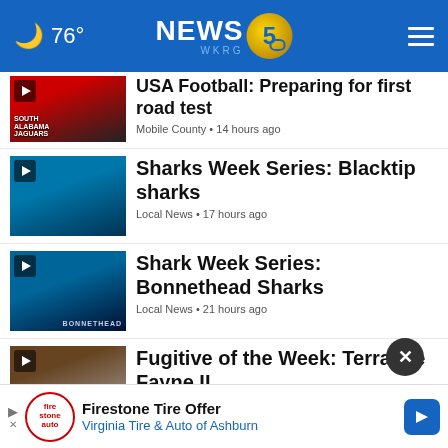76° NEWS 5 WKRG
USA Football: Preparing for first road test · Mobile County · 14 hours ago
Sharks Week Series: Blacktip sharks · Local News · 17 hours ago
Shark Week Series: Bonnethead Sharks · Local News · 21 hours ago
Fugitive of the Week: Terrance Fayne II · SAWS Fugitives · 10 hours ago
Mobile Labor Day Parade returns · Top Stories · 23 hours ago
Mobile Resolutions... (partially visible)
Firestone Tire Offer · Virginia Tire & Auto of Ashburn